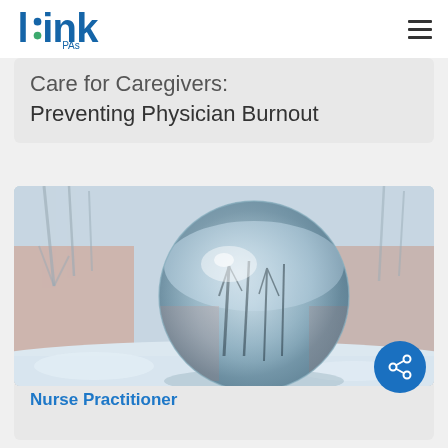link PAs
Care for Caregivers: Preventing Physician Burnout
[Figure (photo): A glass crystal ball sitting in snow, reflecting bare winter trees. The background shows blurred winter trees and warm pinkish tones on the sides.]
Nurse Practitioner